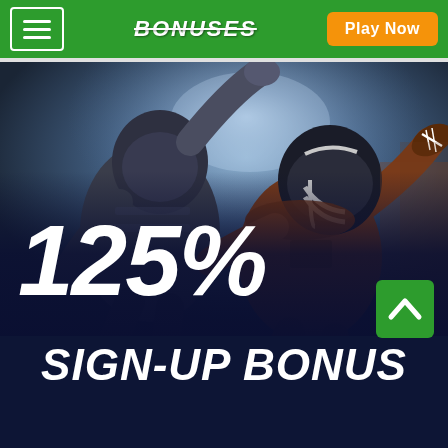≡  BONUSES  Play Now
[Figure (photo): Two American football players in action — one in dark uniform tackling another in brown/orange uniform holding the ball, dramatic stadium lighting background]
125%
SIGN-UP BONUS